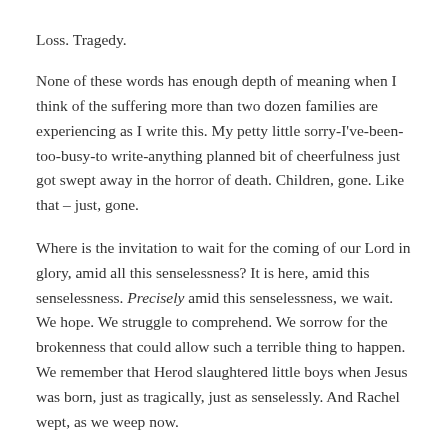Loss. Tragedy.
None of these words has enough depth of meaning when I think of the suffering more than two dozen families are experiencing as I write this. My petty little sorry-I've-been-too-busy-to write-anything planned bit of cheerfulness just got swept away in the horror of death. Children, gone. Like that – just, gone.
Where is the invitation to wait for the coming of our Lord in glory, amid all this senselessness? It is here, amid this senselessness. Precisely amid this senselessness, we wait. We hope. We struggle to comprehend. We sorrow for the brokenness that could allow such a terrible thing to happen. We remember that Herod slaughtered little boys when Jesus was born, just as tragically, just as senselessly. And Rachel wept, as we weep now.